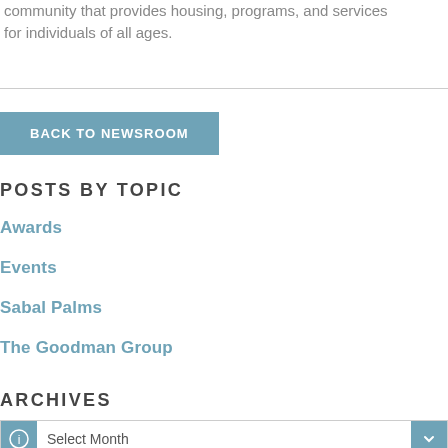community that provides housing, programs, and services for individuals of all ages.
BACK TO NEWSROOM
POSTS BY TOPIC
Awards
Events
Sabal Palms
The Goodman Group
ARCHIVES
Select Month